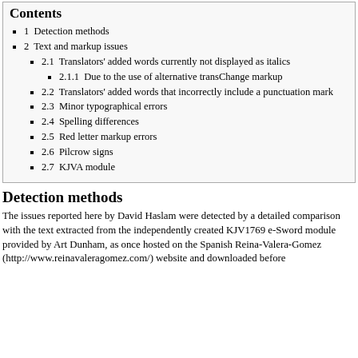Contents
1  Detection methods
2  Text and markup issues
2.1  Translators' added words currently not displayed as italics
2.1.1  Due to the use of alternative transChange markup
2.2  Translators' added words that incorrectly include a punctuation mark
2.3  Minor typographical errors
2.4  Spelling differences
2.5  Red letter markup errors
2.6  Pilcrow signs
2.7  KJVA module
Detection methods
The issues reported here by David Haslam were detected by a detailed comparison with the text extracted from the independently created KJV1769 e-Sword module provided by Art Dunham, as once hosted on the Spanish Reina-Valera-Gomez (http://www.reinavaleragomez.com/) website and downloaded before